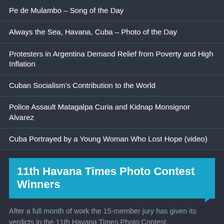Pe de Mulambo – Song of the Day
Always the Sea, Havana, Cuba – Photo of the Day
Protesters in Argentina Demand Relief from Poverty and High Inflation
Cuban Socialism's Contribution to the World
Police Assault Matagalpa Curia and Kidnap Monsignor Alvarez
Cuba Portrayed by a Young Woman Who Lost Hope (video)
11th Havana Times Photo Contest Winners
After a full month of work the 15-member jury has given its verdicts in the 11th Havana Times Photo Contest.
Click here